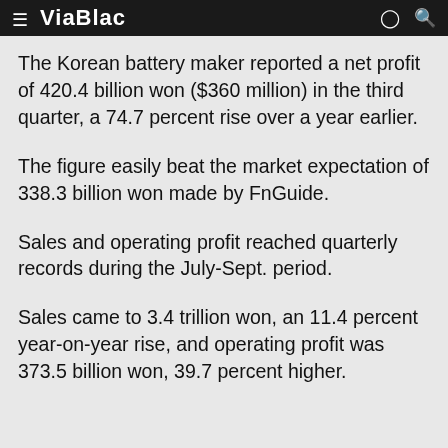ViaBiac
The Korean battery maker reported a net profit of 420.4 billion won ($360 million) in the third quarter, a 74.7 percent rise over a year earlier.
The figure easily beat the market expectation of 338.3 billion won made by FnGuide.
Sales and operating profit reached quarterly records during the July-Sept. period.
Sales came to 3.4 trillion won, an 11.4 percent year-on-year rise, and operating profit was 373.5 billion won, 39.7 percent higher.